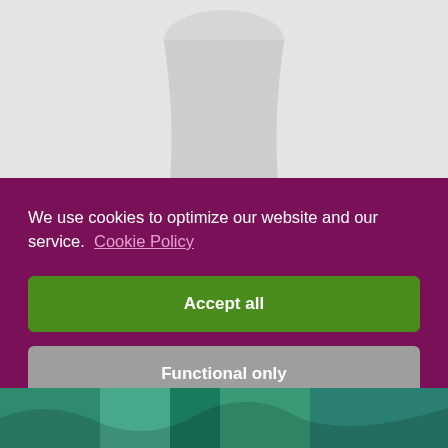[Figure (photo): Top portion of a photo showing a light gray/white object (possibly a vase or lamp) against a light background]
We use cookies to optimize our website and our service.  Cookie Policy
Accept all
Functional only
View preferences
[Figure (photo): Bottom portion of a photo showing colorful fabric or clothing items in teal/turquoise colors]